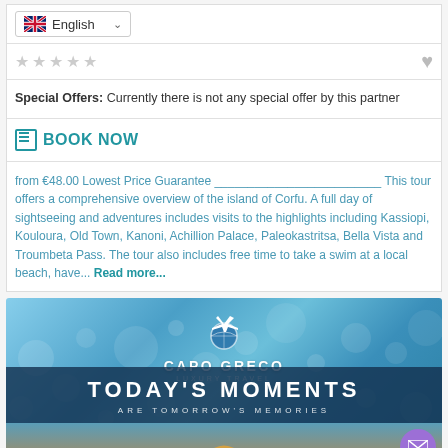English
Special Offers: Currently there is not any special offer by this partner
BOOK NOW
from €48.00 Lowest Price Guarantee _________________________ This tour offers a comprehensive overview of the island of Corfu. A full day of sightseeing and adventures includes visits to the highlights including Kassiopi, Kouloura, Old Town, Kanoni, Achillion Palace, Paleokastritsa, Bella Vista and Troumbeta Pass. The tour also includes free time to take a swim at a local beach, have... Read more...
[Figure (photo): Capo Greco Luxury Travel advertisement banner with ocean/sea bokeh background. Text reads: CAPO GRECO LUXURY TRAVEL, TODAY'S MOMENTS, ARE TOMORROW'S MEMORIES. Shows a straw hat at the bottom.]